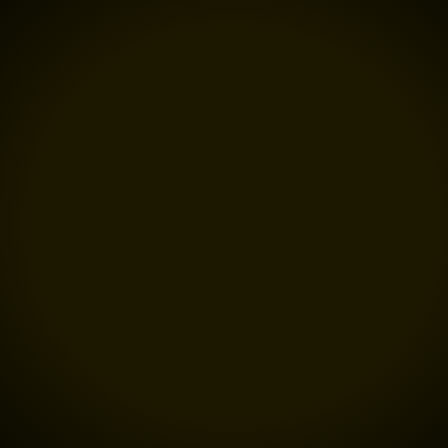| Level | Score | ? |
| --- | --- | --- |
| Easy 3: The Jorma Highway | 73 | 0 |
| Easy 4: Concrete Mayhem | 79 | 0 |
| Easy 5: Fiery Justice | 212 | 0 |
| Easy 6: Bumpy Road | 216 | 0 |
| Easy 7: The Grill Fantasy | 142 | 0 |
| Easy 8: Where's the Ground | 118 | 0 |
| Easy 9: Ups and Downs | 134 | 0 |
| Easy 10: Watch Your Landing | 186 | 0 |
| Easy 11: Easy Beasy | 166 | 0 |
| Medium 1: Too many tires | 222 | 0 |
| Medium 2: Big Jumps | 221 | 0 |
| Medium 3: A Long Journey | 197 | 0 |
| Medium 4: Boulderdash | 147 | 0 |
| Medium 5: Pipedreams | 147 | 0 |